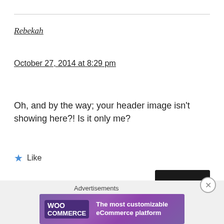Rebekah
October 27, 2014 at 8:29 pm
Oh, and by the way; your header image isn't showing here?! Is it only me?
★ Like
Reply
Advertisements
[Figure (other): WooCommerce advertisement banner: 'The most customizable eCommerce platform']